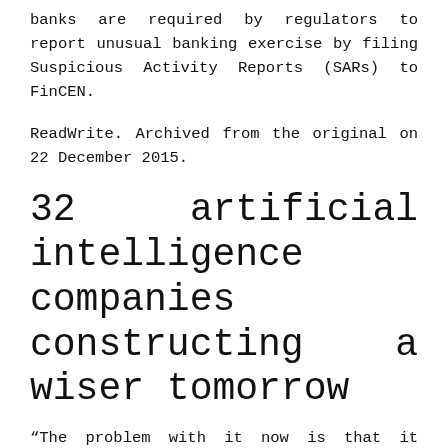banks are required by regulators to report unusual banking exercise by filing Suspicious Activity Reports (SARs) to FinCEN.
ReadWrite. Archived from the original on 22 December 2015.
32 artificial intelligence companies constructing a wiser tomorrow
“The problem with it now is that it produces plenty of false positives, so the true points are misplaced within the weeds. If you use extra machine studying, you possibly can program extra variables and machines can use the knowledge it has after which teach itself the